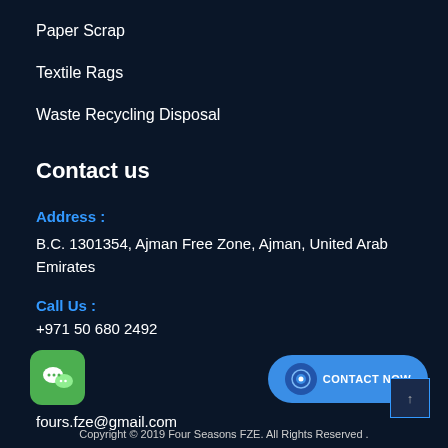Paper Scrap
Textile Rags
Waste Recycling Disposal
Contact us
Address :
B.C. 1301354, Ajman Free Zone, Ajman, United Arab Emirates
Call Us :
+971 50 680 2492
fours.fze@gmail.com
Copyright © 2019 Four Seasons FZE. All Rights Reserved .